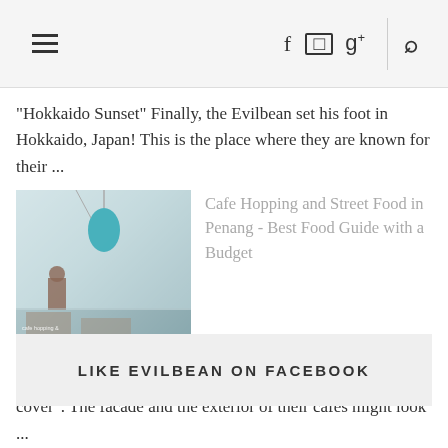≡  f  [instagram]  g+  [search]
"Hokkaido Sunset" Finally, the Evilbean set his foot in Hokkaido, Japan! This is the place where they are known for their ...
[Figure (photo): Thumbnail image of a cafe interior in Penang with decorative hanging items]
Cafe Hopping and Street Food in Penang - Best Food Guide with a Budget
Penang is a city that epitomises: "Never judge a book by it's cover". The facade and the exterior of their cafes might look ...
LIKE EVILBEAN ON FACEBOOK